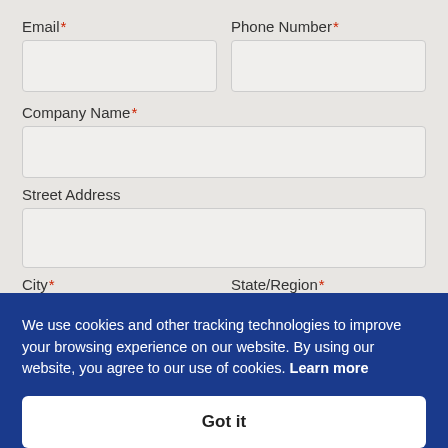Email*
Phone Number*
Company Name*
Street Address
City*
State/Region*
We use cookies and other tracking technologies to improve your browsing experience on our website. By using our website, you agree to our use of cookies. Learn more
Got it